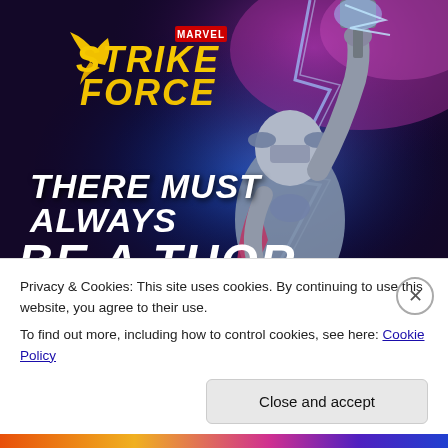[Figure (illustration): Marvel Strike Force game advertisement showing a female Thor character holding Mjolnir aloft with lightning effects, purple/blue cosmic background. Marvel Strike Force logo in upper left. Text reads 'THERE MUST ALWAYS BE A THOR'. Inspired by Marvel Studios Thor: Love and Thunder. Scroll indicator dots at bottom.]
iPhone owners are obsessed with this Marvel
Privacy & Cookies: This site uses cookies. By continuing to use this website, you agree to their use.
To find out more, including how to control cookies, see here: Cookie Policy
Close and accept